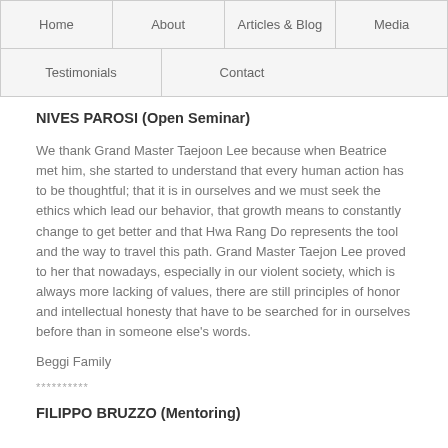Home | About | Articles & Blog | Media | Testimonials | Contact
NIVES PAROSI (Open Seminar)
We thank Grand Master Taejoon Lee because when Beatrice met him, she started to understand that every human action has to be thoughtful; that it is in ourselves and we must seek the ethics which lead our behavior, that growth means to constantly change to get better and that Hwa Rang Do represents the tool and the way to travel this path. Grand Master Taejon Lee proved to her that nowadays, especially in our violent society, which is always more lacking of values, there are still principles of honor and intellectual honesty that have to be searched for in ourselves before than in someone else's words.
Beggi Family
**********
FILIPPO BRUZZO (Mentoring)